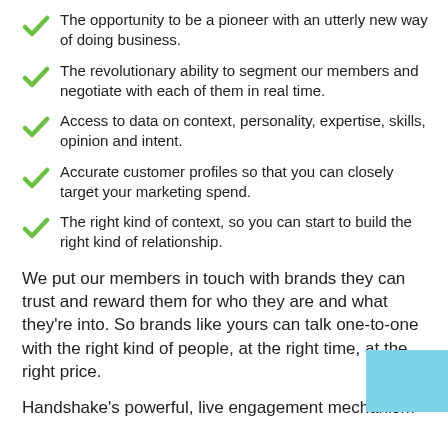The opportunity to be a pioneer with an utterly new way of doing business.
The revolutionary ability to segment our members and negotiate with each of them in real time.
Access to data on context, personality, expertise, skills, opinion and intent.
Accurate customer profiles so that you can closely target your marketing spend.
The right kind of context, so you can start to build the right kind of relationship.
We put our members in touch with brands they can trust and reward them for who they are and what they're into. So brands like yours can talk one-to-one with the right kind of people, at the right time, at the right price.
Handshake's powerful, live engagement mechanism